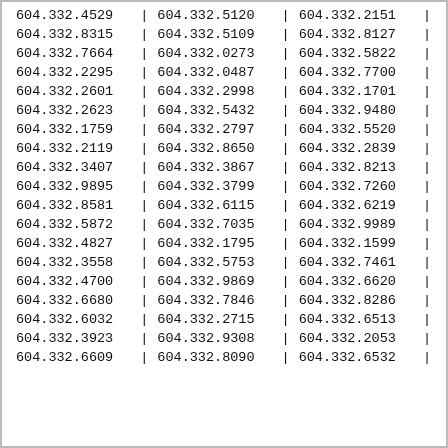| 604.332.4529 | | | 604.332.5120 | | | 604.332.2151 | | |
| 604.332.8315 | | | 604.332.5109 | | | 604.332.8127 | | |
| 604.332.7664 | | | 604.332.0273 | | | 604.332.5822 | | |
| 604.332.2295 | | | 604.332.0487 | | | 604.332.7700 | | |
| 604.332.2601 | | | 604.332.2998 | | | 604.332.1701 | | |
| 604.332.2623 | | | 604.332.5432 | | | 604.332.9480 | | |
| 604.332.1759 | | | 604.332.2797 | | | 604.332.5520 | | |
| 604.332.2119 | | | 604.332.8650 | | | 604.332.2839 | | |
| 604.332.3407 | | | 604.332.3867 | | | 604.332.8213 | | |
| 604.332.9895 | | | 604.332.3799 | | | 604.332.7260 | | |
| 604.332.8581 | | | 604.332.6115 | | | 604.332.6219 | | |
| 604.332.5872 | | | 604.332.7035 | | | 604.332.9989 | | |
| 604.332.4827 | | | 604.332.1795 | | | 604.332.1599 | | |
| 604.332.3558 | | | 604.332.5753 | | | 604.332.7461 | | |
| 604.332.4700 | | | 604.332.9869 | | | 604.332.6620 | | |
| 604.332.6680 | | | 604.332.7846 | | | 604.332.8286 | | |
| 604.332.6032 | | | 604.332.2715 | | | 604.332.6513 | | |
| 604.332.3923 | | | 604.332.9308 | | | 604.332.2053 | | |
| 604.332.6609 | | | 604.332.8090 | | | 604.332.6532 | | |